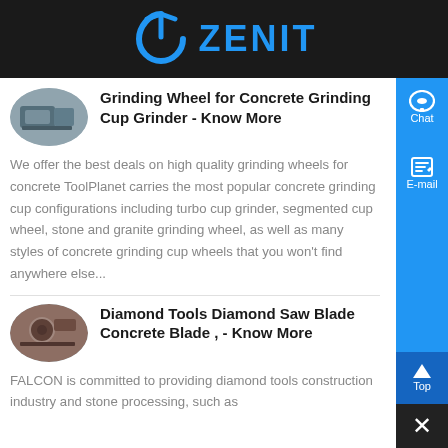[Figure (logo): Zenit company logo with blue arc/arrow icon and blue text ZENIT on dark background]
Grinding Wheel for Concrete Grinding Cup Grinder - Know More
We offer the best deals on high quality grinding wheels for concrete ToolPlanet carries the most popular concrete grinding cup configurations including turbo cup grinder, segmented cup wheel, stone and granite grinding wheel, as well as many styles of concrete grinding cup wheels that you won't find anywhere else...
Diamond Tools Diamond Saw Blade Concrete Blade , - Know More
FALCON is committed to providing diamond tools construction industry and stone processing, such as